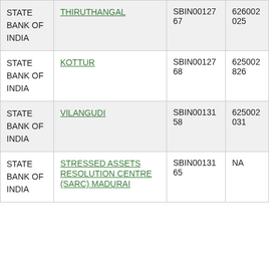| Bank | Branch | IFSC | PIN |
| --- | --- | --- | --- |
| STATE BANK OF INDIA | THIRUTHANGAL | SBIN0012767 | 626002025 |
| STATE BANK OF INDIA | KOTTUR | SBIN0012768 | 625002826 |
| STATE BANK OF INDIA | VILANGUDI | SBIN0013158 | 625002031 |
| STATE BANK OF INDIA | STRESSED ASSETS RESOLUTION CENTRE (SARC) MADURAI | SBIN0013165 | NA |